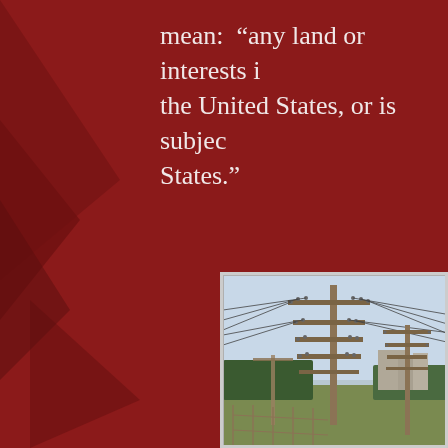mean: “any land or interests in the United States, or is subject States.”
[Figure (photo): Photograph of utility/electric power poles with multiple crossarms and wires, set against a light blue sky, with trees, buildings and green vegetation in the background. Rural or semi-rural landscape.]